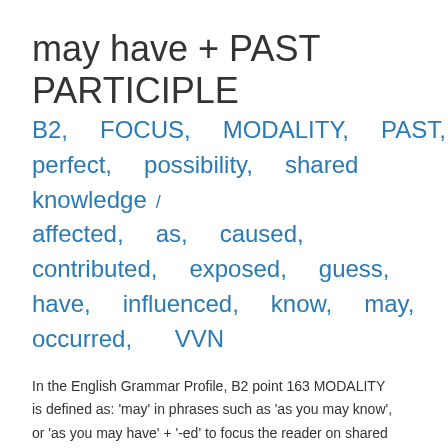may have + PAST PARTICIPLE
B2, FOCUS, MODALITY, PAST, perfect, possibility, shared knowledge / affected, as, caused, contributed, exposed, guess, have, influenced, know, may, occurred, VVN
In the English Grammar Profile, B2 point 163 MODALITY
is defined as: 'may' in phrases such as 'as you may know',
or 'as you may have' + '-ed' to focus the reader on shared